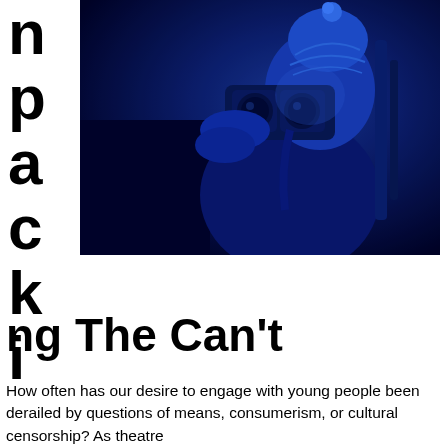Unpacking The Can't
[Figure (photo): A person wearing a blue knit beanie hat with a pom-pom, looking through a camera/binoculars, photographed under blue-tinted stage lighting against a dark/black background.]
How often has our desire to engage with young people been derailed by questions of means, consumerism, or cultural censorship? As theatre